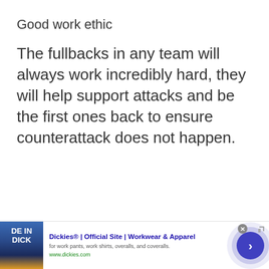Good work ethic
The fullbacks in any team will always work incredibly hard, they will help support attacks and be the first ones back to ensure counterattack does not happen.
[Figure (other): Advertisement banner for Dickies® Official Site - Workwear & Apparel. Shows product image on left, ad title, description 'for work pants, work shirts, overalls, and coveralls.', URL www.dickies.com, and a navigation arrow button on right.]